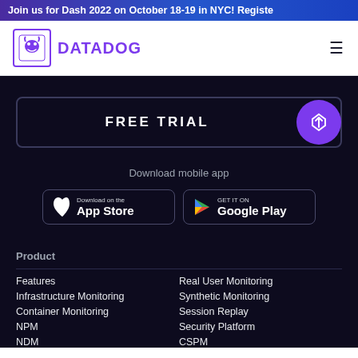Join us for Dash 2022 on October 18-19 in NYC! Registe
[Figure (logo): Datadog logo with dog icon and purple DATADOG wordmark]
FREE TRIAL
Download mobile app
[Figure (screenshot): Download on the App Store button]
[Figure (screenshot): GET IT ON Google Play button]
Product
Features
Real User Monitoring
Infrastructure Monitoring
Synthetic Monitoring
Container Monitoring
Session Replay
NPM
Security Platform
NDM
CSPM